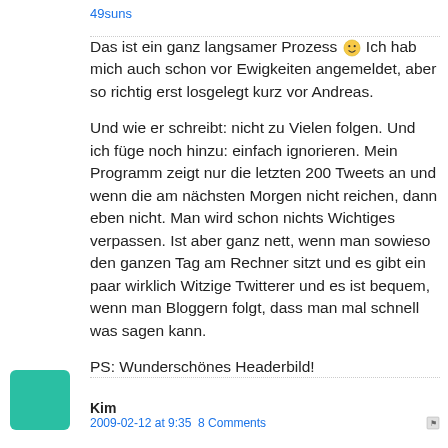49suns
Das ist ein ganz langsamer Prozess 🙂 Ich hab mich auch schon vor Ewigkeiten angemeldet, aber so richtig erst losgelegt kurz vor Andreas.

Und wie er schreibt: nicht zu Vielen folgen. Und ich füge noch hinzu: einfach ignorieren. Mein Programm zeigt nur die letzten 200 Tweets an und wenn die am nächsten Morgen nicht reichen, dann eben nicht. Man wird schon nichts Wichtiges verpassen. Ist aber ganz nett, wenn man sowieso den ganzen Tag am Rechner sitzt und es gibt ein paar wirklich Witzige Twitterer und es ist bequem, wenn man Bloggern folgt, dass man mal schnell was sagen kann.

PS: Wunderschönes Headerbild!
Kim   2009-02-12 at 9:35  8 Comments